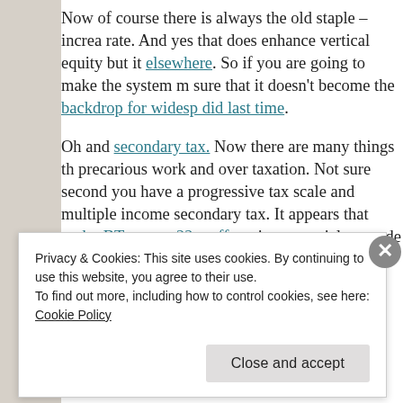Now of course there is always the old staple – increa rate. And yes that does enhance vertical equity but it elsewhere. So if you are going to make the system m sure that it doesn't become the backdrop for widesp did last time.
Oh and secondary tax. Now there are many things th precarious work and over taxation. Not sure second you have a progressive tax scale and multiple income secondary tax. It appears that under BT – page 22 – off getting a special tax code which should help but s
Privacy & Cookies: This site uses cookies. By continuing to use this website, you agree to their use.
To find out more, including how to control cookies, see here: Cookie Policy